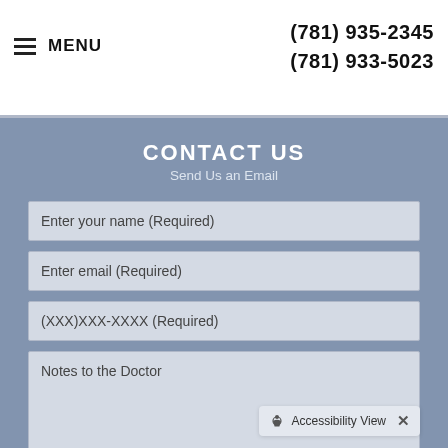(781) 935-2345
(781) 933-5023
CONTACT US
Send Us an Email
Enter your name (Required)
Enter email (Required)
(XXX)XXX-XXXX (Required)
Notes to the Doctor